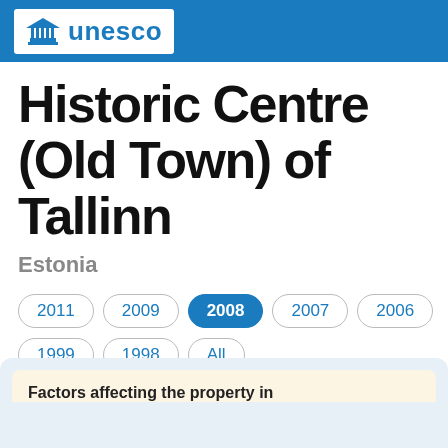UNESCO
Historic Centre (Old Town) of Tallinn
Estonia
2011
2009
2008
2007
2006
1999
1998
All
Factors affecting the property in